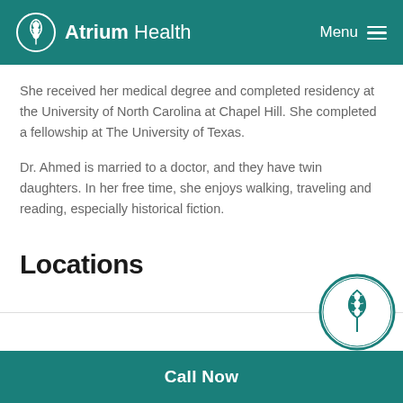Atrium Health  Menu
She received her medical degree and completed residency at the University of North Carolina at Chapel Hill. She completed a fellowship at The University of Texas.
Dr. Ahmed is married to a doctor, and they have twin daughters. In her free time, she enjoys walking, traveling and reading, especially historical fiction.
Locations
[Figure (logo): Atrium Health circular logo watermark in teal]
Call Now